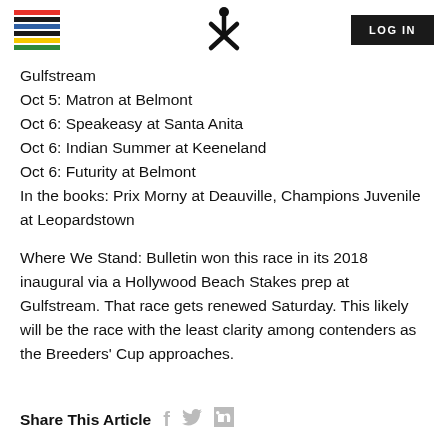LOG IN
Gulfstream
Oct 5: Matron at Belmont
Oct 6: Speakeasy at Santa Anita
Oct 6: Indian Summer at Keeneland
Oct 6: Futurity at Belmont
In the books: Prix Morny at Deauville, Champions Juvenile at Leopardstown
Where We Stand: Bulletin won this race in its 2018 inaugural via a Hollywood Beach Stakes prep at Gulfstream. That race gets renewed Saturday. This likely will be the race with the least clarity among contenders as the Breeders' Cup approaches.
Share This Article